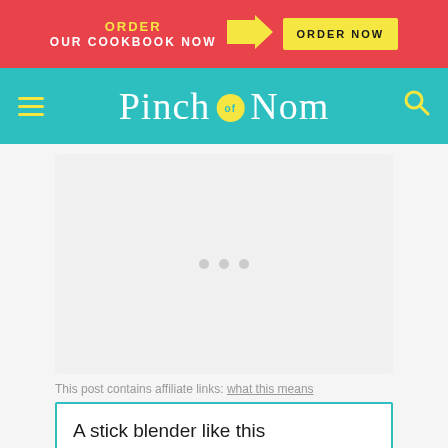ORDER OUR COOKBOOK NOW → ORDER NOW
Pinch of Nom
[Figure (other): Advertisement placeholder with three grey loading dots]
This post contains affiliate links: what this means
A stick blender like this one from Amazon makes